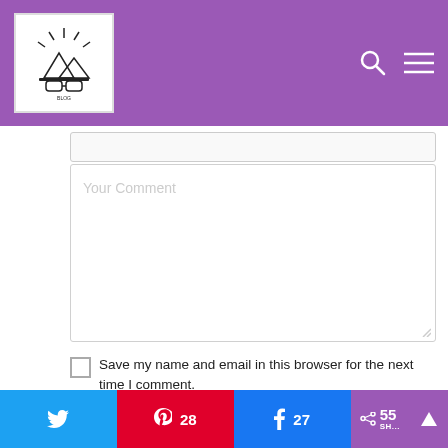[Figure (screenshot): Website header with purple background, logo image on left, search and menu icons on right]
[Figure (screenshot): Your Comment textarea input box with resize handle]
Save my name and email in this browser for the next time I comment.
[Figure (screenshot): POST COMMENT button in black]
Thi... it... Akis... et bl... ...
[Figure (screenshot): Share bar with Twitter, Pinterest (28), Facebook (27), and total share count (55) buttons]